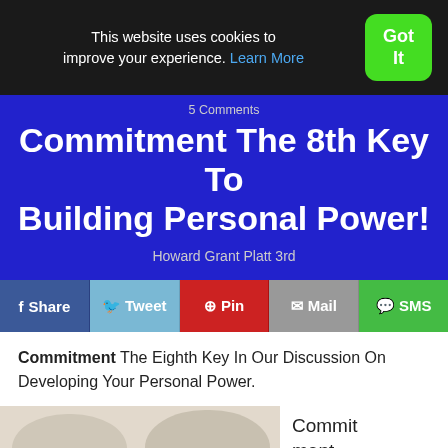This website uses cookies to improve your experience. Learn More
Got It
5 Comments
Commitment The 8th Key To Building Personal Power!
Howard Grant Platt 3rd
f Share
Tweet
Pin
Mail
SMS
Commitment The Eighth Key In Our Discussion On Developing Your Personal Power.
[Figure (photo): Two cushions or pillows on a sofa, cream/beige colored]
Commitment,